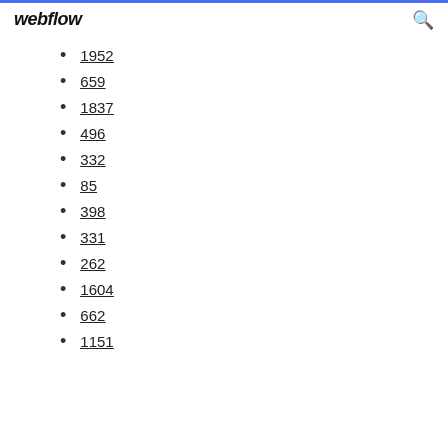webflow
1952
659
1837
496
332
85
398
331
262
1604
662
1151